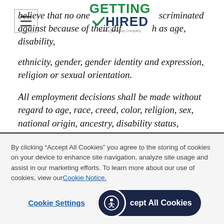[Figure (logo): Getting Hired logo - An Allegis Group Company]
believe that no one should be discriminated against because of their differences, such as age, disability, ethnicity, gender, gender identity and expression, religion or sexual orientation.
All employment decisions shall be made without regard to age, race, creed, color, religion, sex, national origin, ancestry, disability status, veteran status, sexual orientation, gender identity or
By clicking “Accept All Cookies” you agree to the storing of cookies on your device to enhance site navigation, analyze site usage and assist in our marketing efforts. To learn more about our use of cookies, view our Cookie Notice.
Cookie Settings
Accept All Cookies